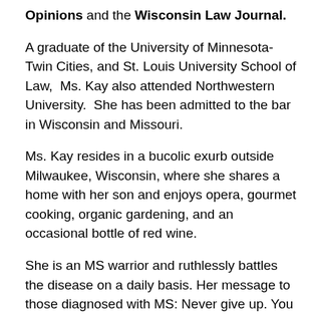Opinions and the Wisconsin Law Journal.
A graduate of the University of Minnesota-Twin Cities, and St. Louis University School of Law,  Ms. Kay also attended Northwestern University.  She has been admitted to the bar in Wisconsin and Missouri.
Ms. Kay resides in a bucolic exurb outside Milwaukee, Wisconsin, where she shares a home with her son and enjoys opera, gourmet cooking, organic gardening, and an occasional bottle of red wine.
She is an MS warrior and ruthlessly battles the disease on a daily basis. Her message to those diagnosed with MS: Never give up. You define MS, it does not define you!
Links: